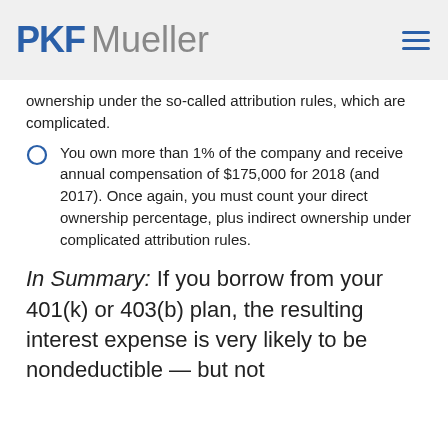PKF Mueller
ownership under the so-called attribution rules, which are complicated.
You own more than 1% of the company and receive annual compensation of $175,000 for 2018 (and 2017). Once again, you must count your direct ownership percentage, plus indirect ownership under complicated attribution rules.
In Summary: If you borrow from your 401(k) or 403(b) plan, the resulting interest expense is very likely to be nondeductible — but not